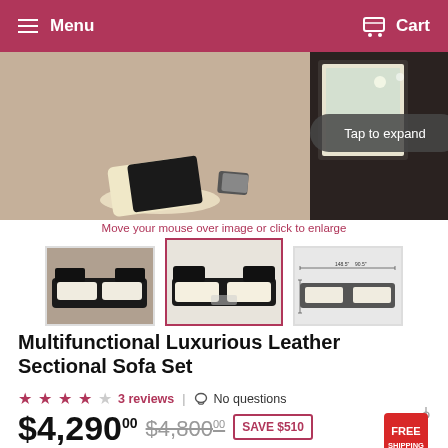Menu | Cart
[Figure (photo): Product photo of a black and white leather sectional sofa set in a living room, with a 'Tap to expand' overlay button]
Move your mouse over image or click to enlarge
[Figure (photo): Three product thumbnail images: (1) sofa set in a room, (2) sofa set front view with cream accents, (3) sofa set with dimensions diagram]
Multifunctional Luxurious Leather Sectional Sofa Set
★★★★☆ 3 reviews | No questions
$4,290.00  $4,800.00  SAVE $510